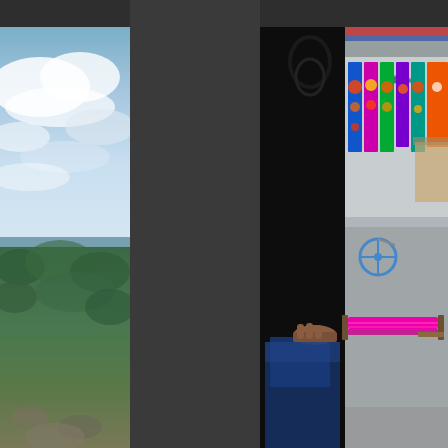[Figure (photo): Left panel: coastal landscape with cloudy sky, green vegetation, and a glimpse of the sea near the horizon]
[Figure (photo): Right panel: view through a dark doorway into an outdoor market scene with colorful textiles hanging on display, a bicycle, a pink/magenta backstrap loom, and a hand resting on blue fabric in the foreground]